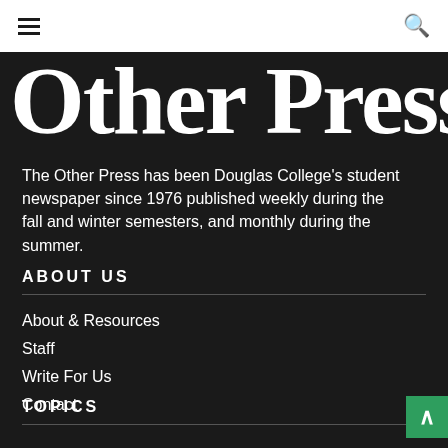≡ [hamburger menu] [search icon]
Other Press.
The Other Press has been Douglas College's student newspaper since 1976 published weekly during the fall and winter semesters, and monthly during the summer.
ABOUT US
About & Resources
Staff
Write For Us
Contact
TOPICS